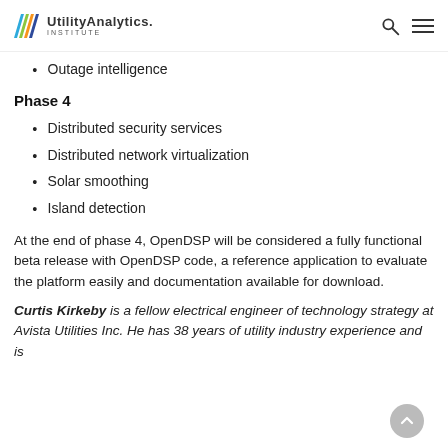Utility Analytics Institute
Outage intelligence
Phase 4
Distributed security services
Distributed network virtualization
Solar smoothing
Island detection
At the end of phase 4, OpenDSP will be considered a fully functional beta release with OpenDSP code, a reference application to evaluate the platform easily and documentation available for download.
Curtis Kirkeby is a fellow electrical engineer of technology strategy at Avista Utilities Inc. He has 38 years of utility industry experience and is